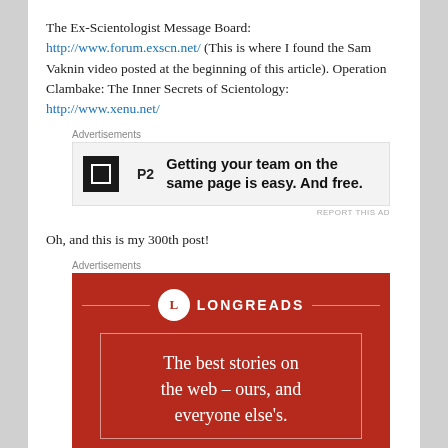The Ex-Scientologist Message Board: http://www.forum.exscn.net/ (This is where I found the Sam Vaknin video posted at the beginning of this article). Operation Clambake: The Inner Secrets of Scientology: http://www.xenu.net/
Advertisements
[Figure (other): Advertisement for P2: Getting your team on the same page is easy. And free.]
REPORT THIS AD
Oh, and this is my 300th post!
Advertisements
[Figure (other): Advertisement for Longreads: The best stories on the web – ours, and everyone else's.]